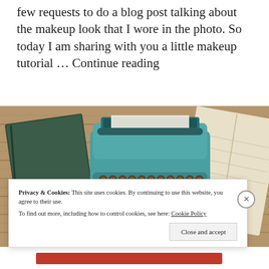few requests to do a blog post talking about the makeup look that I wore in the photo. So today I am sharing with you a little makeup tutorial … Continue reading
[Figure (photo): Overhead photo of a teal/turquoise vintage typewriter on a wood plank surface, with a dark green hardcover book to the left and an open cream-colored notebook to the right.]
Privacy & Cookies: This site uses cookies. By continuing to use this website, you agree to their use.
To find out more, including how to control cookies, see here: Cookie Policy
Close and accept